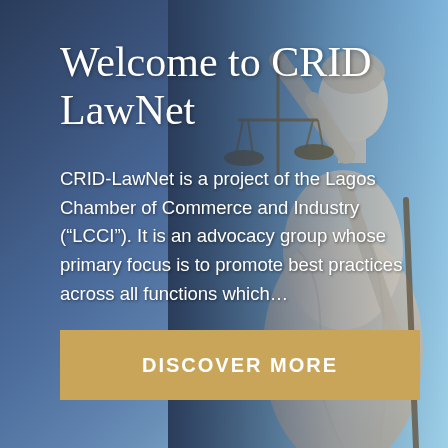[Figure (illustration): Background image of Lady Justice statue (blindfolded figure holding scales of justice and a staff/sword) against a blue sky, with a dark blue overlay gradient on the left side of the image.]
Welcome to CRID LawNet
CRID-LawNet is a project of the Lagos Chamber of Commerce and Industry ("LCCI"). It is an advocacy group whose primary focus is to promote best practices across all functions which...
DISCOVER MORE